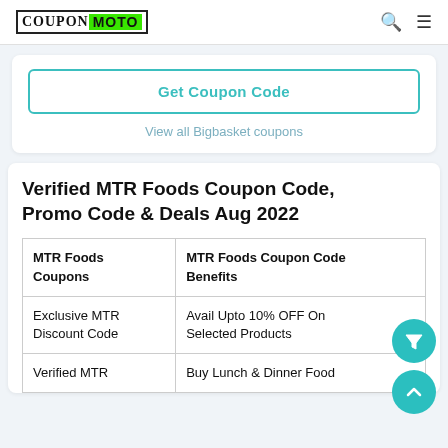COUPON MOTO
Get Coupon Code
View all Bigbasket coupons
Verified MTR Foods Coupon Code, Promo Code & Deals Aug 2022
| MTR Foods Coupons | MTR Foods Coupon Code Benefits |
| --- | --- |
| Exclusive MTR Discount Code | Avail Upto 10% OFF On Selected Products |
| Verified MTR | Buy Lunch & Dinner Food |